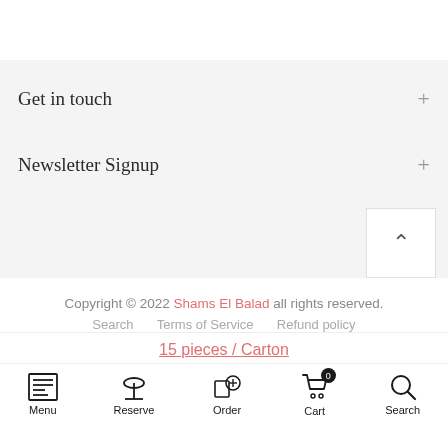Get in touch
Newsletter Signup
Copyright © 2022 Shams El Balad all rights reserved.
Search   Terms of Service   Refund policy
15 pieces / Carton
Menu  Reserve  Order  Cart 0  Search